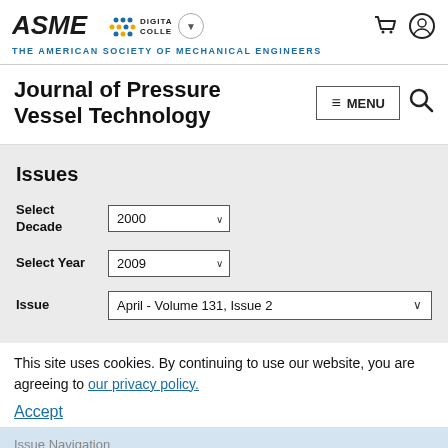ASME DIGITAL COLLECTION - THE AMERICAN SOCIETY OF MECHANICAL ENGINEERS
Journal of Pressure Vessel Technology
Issues
Select Decade: 2000
Select Year: 2009
Issue: April - Volume 131, Issue 2
This site uses cookies. By continuing to use our website, you are agreeing to our privacy policy.
Accept
Issue Navigation